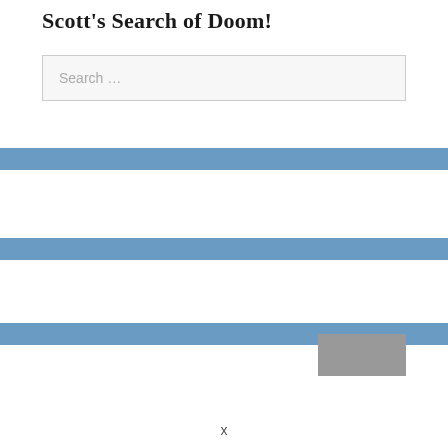Scott’s Search of Doom!
Search …
[Figure (other): Blue horizontal banner bar 1]
[Figure (other): Blue horizontal banner bar 2]
[Figure (other): Blue horizontal banner bar 3]
[Figure (other): Grey rectangle button/image placeholder at bottom right]
x